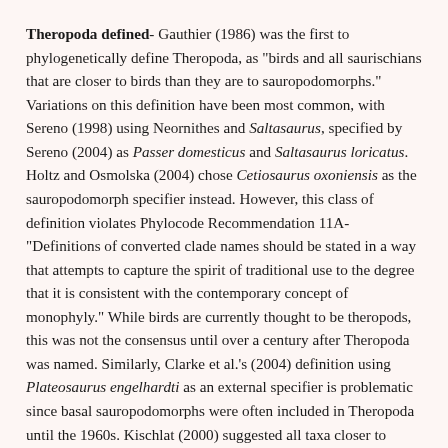Theropoda defined- Gauthier (1986) was the first to phylogenetically define Theropoda, as "birds and all saurischians that are closer to birds than they are to sauropodomorphs." Variations on this definition have been most common, with Sereno (1998) using Neornithes and Saltasaurus, specified by Sereno (2004) as Passer domesticus and Saltasaurus loricatus. Holtz and Osmolska (2004) chose Cetiosaurus oxoniensis as the sauropodomorph specifier instead. However, this class of definition violates Phylocode Recommendation 11A- "Definitions of converted clade names should be stated in a way that attempts to capture the spirit of traditional use to the degree that it is consistent with the contemporary concept of monophyly." While birds are currently thought to be theropods, this was not the consensus until over a century after Theropoda was named. Similarly, Clarke et al.'s (2004) definition using Plateosaurus engelhardti as an external specifier is problematic since basal sauropodomorphs were often included in Theropoda until the 1960s. Kischlat (2000) suggested all taxa closer to Allosaurus than to Morosaurus, which is valid in using taxa Marsh (1881) and everyone since have recognized as being theropod and non-theropod. This definition is modified here by including the types species of each genus.